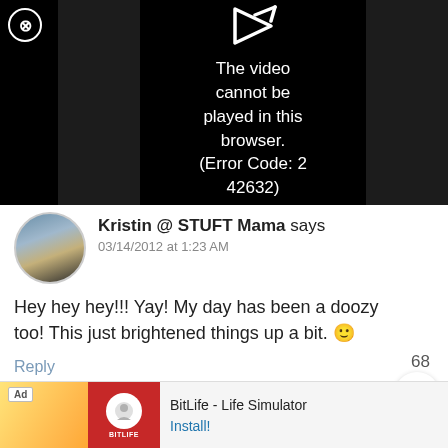[Figure (screenshot): Video player showing error: 'The video cannot be played in this browser. (Error Code: 2 42632)' on dark background with close button and play icon.]
Kristin @ STUFT Mama says
03/14/2012 at 1:23 AM
Hey hey hey!!! Yay! My day has been a doozy too! This just brightened things up a bit. 🙂
Reply
68
[Figure (screenshot): Ad banner for BitLife - Life Simulator with Install button]